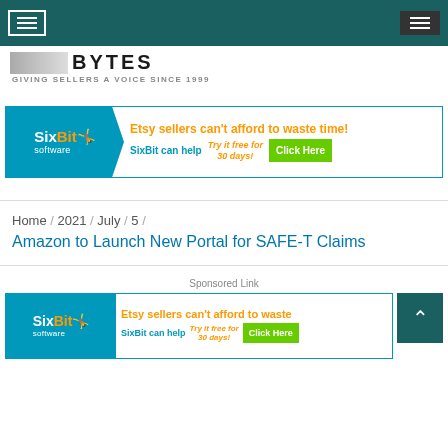Navigation bar with hamburger menu buttons
[Figure (logo): BYTES logo with tagline GIVING SELLERS A VOICE SINCE 1999]
[Figure (infographic): SixBit Software ad banner: Etsy sellers can't afford to waste time! SixBit can help. Try it free for 30 days! Click Here]
Home / 2021 / July / 5 / Amazon to Launch New Portal for SAFE-T Claims
Amazon to Launch New Portal for SAFE-T Claims
Sponsored Link
[Figure (infographic): SixBit Software ad banner (second): Etsy sellers can't afford to waste... SixBit can help. Try it free for 30 days! Click Here]